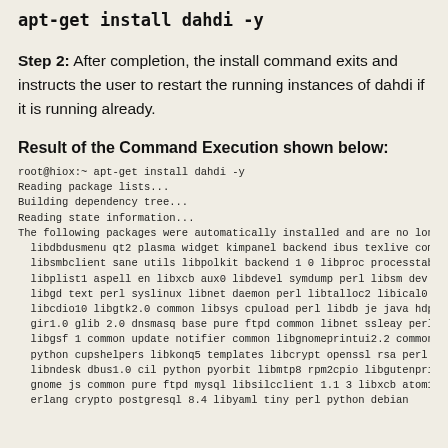apt-get install dahdi -y
Step 2: After completion, the install command exits and instructs the user to restart the running instances of dahdi if it is running already.
Result of the Command Execution shown below:
root@hiox:~ apt-get install dahdi -y
Reading package lists...
Building dependency tree...
Reading state information...
The following packages were automatically installed and are no long
  libdbdusmenu qt2 plasma widget kimpanel backend ibus texlive comme
  libsmbclient sane utils libpolkit backend 1 0 libproc processtabi
  libplist1 aspell en libxcb aux0 libdevel symdump perl libsm dev l
  libgd text perl syslinux libnet daemon perl libtalloc2 libical0 l
  libcdio10 libgtk2.0 common libsys cpuload perl libdb je java hdpa
  gir1.0 glib 2.0 dnsmasq base pure ftpd common libnet ssleay perl
  libgsf 1 common update notifier common libgnomeprintui2.2 common
  python cupshelpers libkonq5 templates libcrypt openssl rsa perl l
  libndesk dbus1.0 cil python pyorbit libmtp8 rpm2cpio libgutenprn
  gnome js common pure ftpd mysql libsilcclient 1.1 3 libxcb atom1
  erlang crypto postgresql 8.4 libyaml tiny perl python debian